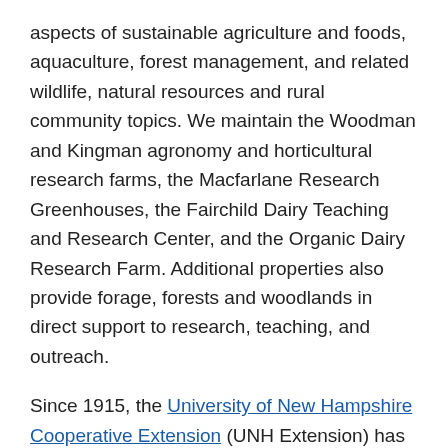aspects of sustainable agriculture and foods, aquaculture, forest management, and related wildlife, natural resources and rural community topics. We maintain the Woodman and Kingman agronomy and horticultural research farms, the Macfarlane Research Greenhouses, the Fairchild Dairy Teaching and Research Center, and the Organic Dairy Research Farm. Additional properties also provide forage, forests and woodlands in direct support to research, teaching, and outreach.
Since 1915, the University of New Hampshire Cooperative Extension (UNH Extension) has improved people's lives by providing research-based information and non-formal education programs on topics important to the state. Through partnerships with county governments, UNH Extension offices staffed by specialists, educators, support personnel and